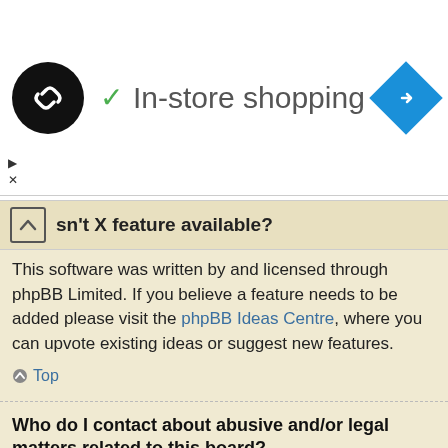[Figure (screenshot): Advertisement banner showing a black circular logo with chain-link icon, green checkmark, 'In-store shopping' text, and a blue diamond navigation icon]
sn't X feature available?
This software was written by and licensed through phpBB Limited. If you believe a feature needs to be added please visit the phpBB Ideas Centre, where you can upvote existing ideas or suggest new features.
Top
Who do I contact about abusive and/or legal matters related to this board?
Any of the administrators listed on the “The team” page should be an appropriate point of contact for your complaints. If this still gets no response then you should contact the owner of the domain (do a whois lookup) or, if this is running on a free service (e.g. Yahoo!, free.fr, f2s.com, etc.), the management or abuse department of that service. Please